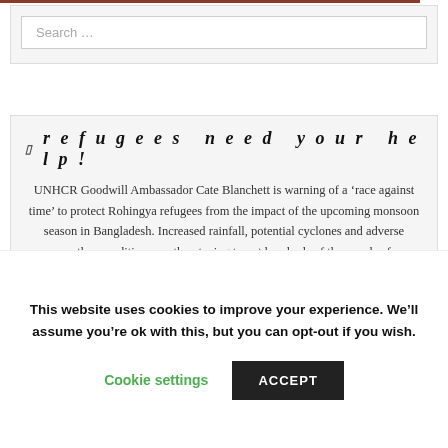Search ...
refugees need your help!
UNHCR Goodwill Ambassador Cate Blanchett is warning of a 'race against time' to protect Rohingya refugees from the impact of the upcoming monsoon season in Bangladesh. Increased rainfall, potential cyclones and adverse weather conditions are threatening to put hundreds of thousands of
This website uses cookies to improve your experience. We'll assume you're ok with this, but you can opt-out if you wish.
Cookie settings
ACCEPT